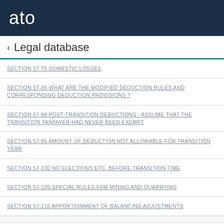ato
< Legal database
SECTION 57-75 DOMESTIC LOSSES
SECTION 57-85 WHAT ARE THE MODIFIED DEDUCTION RULES AND CORRESPONDING DEDUCTION PROVISIONS ?
SECTION 57-90 POST-TRANSITION DEDUCTIONS - ASSUME THAT THE TRANSITION TAXPAYER HAD NEVER BEEN EXEMPT
SECTION 57-95 AMOUNT OF DEDUCTION NOT ALLOWABLE FOR TRANSITION YEAR
SECTION 57-100 NO ELECTIONS ETC. BEFORE TRANSITION TIME
SECTION 57-105 SPECIAL RULES FOR MINING AND QUARRYING
SECTION 57-110 APPORTIONMENT OF BALANCING ADJUSTMENTS